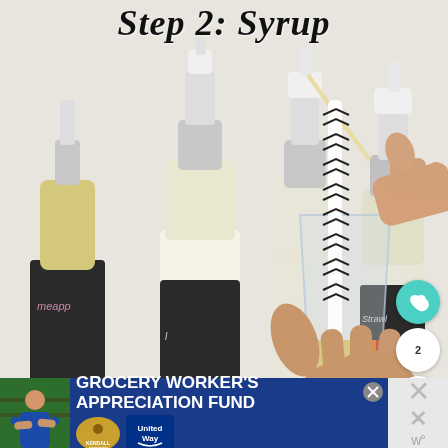Step 2: Syrup
[Figure (photo): Person's hand dispensing syrup from a pump bottle into a glass with a chevron-patterned straw, with multiple labeled syrup pump bottles in the background on a counter, including pineapple and strawberry flavored syrups]
[Figure (other): Social action buttons: heart/like button (teal) and share button on right side of image]
2
[Figure (other): Advertisement banner: Grocery Worker's Appreciation Fund with Kendall Jackson and United Way logos, person in blue shirt on left, X close button, and side dismiss panel with W degree symbol]